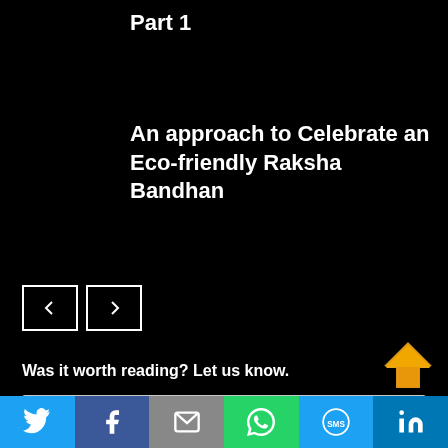Part 1
An approach to Celebrate an Eco-friendly Raksha Bandhan
[Figure (other): Navigation previous/next buttons (left and right arrow buttons)]
Was it worth reading? Let us know.
Enter your comment here...
[Figure (other): Scroll to top arrow button in orange/amber color]
[Figure (other): Social sharing bar with Twitter, Facebook, Email, WhatsApp, SMS, LinkedIn icons]